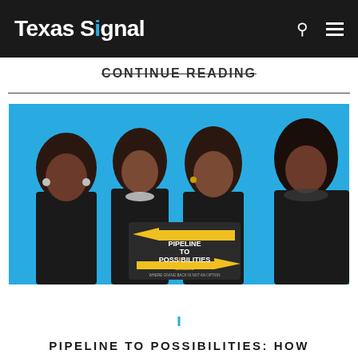Texas Signal
CONTINUE READING
[Figure (photo): Four Black women in black judicial robes standing together against a blue background, holding a sign that reads 'Pipeline to Possibilities: Believe, Succeed, Where Giving Back is Not an Option']
PIPELINE TO POSSIBILITIES: HOW